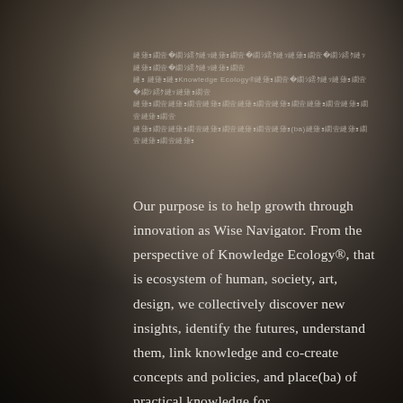縺薙ｮ繝壹�繝ｼ繧ｸ縺ｯ縺薙｀繝壹�繝ｼ繧ｸ縺ｯ縺薙ｮ繝壹�繝ｼ繧ｸ縺ｯ縺薙ｮ繝壹�繝ｼ繧ｸ縺ｯ縺薙ｮ繝壹�繝ｼ縺ｯ縺薙ｮ縺薙ｮ縺薙ｮKnowledge Ecology®縺薙ｮ繝壹�繝ｼ繧ｸ縺ｯ縺薙ｮ繝壹�繝ｼ繧ｸ縺ｯ縺薙ｮ繝壹�繝ｼ繧ｸ縺薙ｮ繝壹�繝ｼ縺ｯ縺薙ｮ縺薙ｮ縺薙ｮ縺薙ｮ縺薙ｮ(ba)縺薙ｮ繝壹縺薙ｮ繝壹縺薙ｮ繝壹�縺薙ｮ繝壹 (Japanese text describing purpose and Knowledge Ecology concept with place(ba) reference)
Our purpose is to help growth through innovation as Wise Navigator. From the perspective of Knowledge Ecology®, that is ecosystem of human, society, art, design, we collectively discover new insights, identify the futures, understand them, link knowledge and co-create concepts and policies, and place(ba) of practical knowledge for transformation(X).